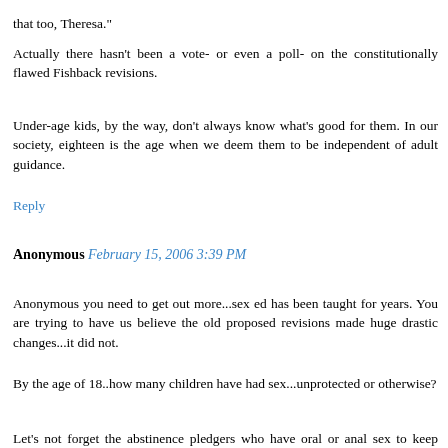that too, Theresa."
Actually there hasn't been a vote- or even a poll- on the constitutionally flawed Fishback revisions.
Under-age kids, by the way, don't always know what's good for them. In our society, eighteen is the age when we deem them to be independent of adult guidance.
Reply
Anonymous February 15, 2006 3:39 PM
Anonymous you need to get out more...sex ed has been taught for years. You are trying to have us believe the old proposed revisions made huge drastic changes...it did not.
By the age of 18..how many children have had sex...unprotected or otherwise?
Let's not forget the abstinence pledgers who have oral or anal sex to keep from having "real sex."